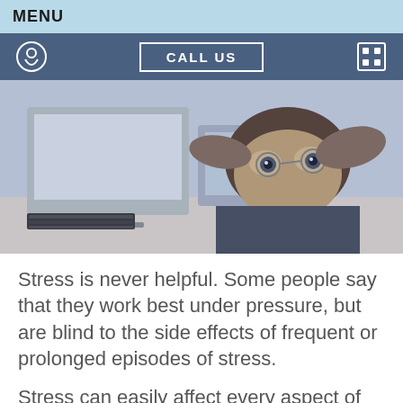MENU
[Figure (screenshot): Navigation bar with location pin icon, CALL US button, and calendar/grid icon on a dark blue-grey background]
[Figure (photo): A stressed man peeking over a desk at a computer monitor with a mouse in the foreground, photo with blue tones]
Stress is never helpful. Some people say that they work best under pressure, but are blind to the side effects of frequent or prolonged episodes of stress.
Stress can easily affect every aspect of your health, from oral health to physical health, and in some cases, mental health. This manifests in